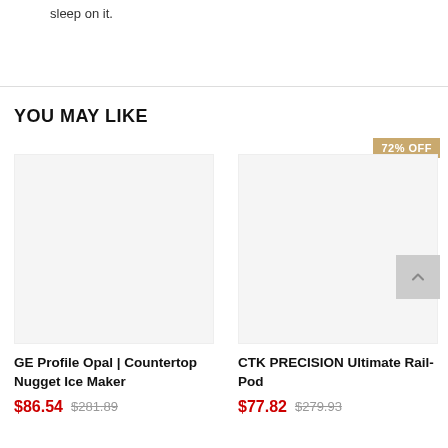sleep on it.
YOU MAY LIKE
[Figure (other): Product image placeholder for GE Profile Opal Countertop Nugget Ice Maker]
GE Profile Opal | Countertop Nugget Ice Maker
$86.54  $281.89
[Figure (other): Product image placeholder for CTK PRECISION Ultimate Rail-Pod with 72% OFF badge]
CTK PRECISION Ultimate Rail-Pod
$77.82  $279.93